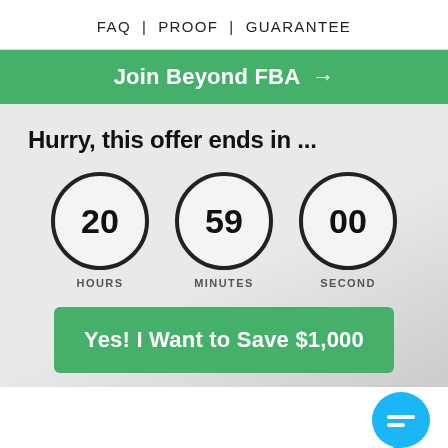FAQ  |  PROOF  |  GUARANTEE
Join Beyond FBA →
Hurry, this offer ends in ...
[Figure (infographic): Countdown timer showing three circles: 20 HOURS, 59 MINUTES, 00 SECOND]
Yes! I Want to Save $1,000
[Figure (illustration): Blue chat bubble icon in lower right corner]